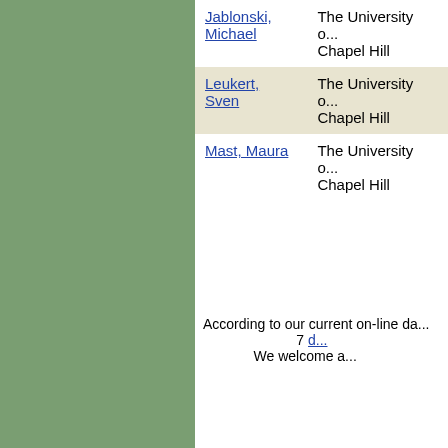| Name | Institution |
| --- | --- |
| Jablonski, Michael | The University of Chapel Hill |
| Leukert, Sven | The University of Chapel Hill |
| Mast, Maura | The University of Chapel Hill |
According to our current on-line database, 7 d... We welcome a...
If you have additional information or corrections, please use the update form. To submit students of this mathematician, please use the mathematician's MG...
Search | About MGP | Links | FAQs
The Mathematics Genealogy Project is in need of funds to help pay for student help and other expenses. To contribute, please donate online using credit card or bank transfer.
Mathematics Genealogy P...
Department of Mathema...
North Dakota State Unive...
P. O. Box 6050